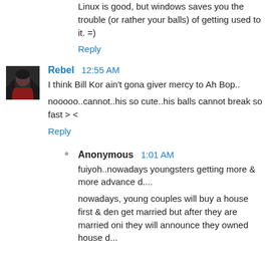Linux is good, but windows saves you the trouble (or rather your balls) of getting used to it. =)
Reply
Rebel  12:55 AM
I think Bill Kor ain't gona giver mercy to Ah Bop..
nooooo..cannot..his so cute..his balls cannot break so fast > <
Reply
Anonymous  1:01 AM
fuiyoh..nowadays youngsters getting more & more advance d....
nowadays, young couples will buy a house first & den get married but after they are married oni they will announce they owned house d...